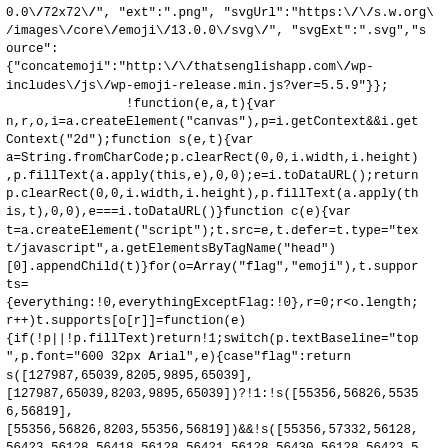0.0\/72x72\/", "ext":".png", "svgUrl":"https:\/\/s.w.org\/images\/core\/emoji\/13.0.0\/svg\/", "svgExt":".svg","source":
{"concatemoji":"http:\/\/thatsenglishapp.com\/wp-includes\/js\/wp-emoji-release.min.js?ver=5.5.9"}};
				!function(e,a,t){var n,r,o,i=a.createElement("canvas"),p=i.getContext&&i.getContext("2d");function s(e,t){var a=String.fromCharCode;p.clearRect(0,0,i.width,i.height),p.fillText(a.apply(this,e),0,0);e=i.toDataURL();return p.clearRect(0,0,i.width,i.height),p.fillText(a.apply(this,t),0,0),e===i.toDataURL()}function c(e){var t=a.createElement("script");t.src=e,t.defer=t.type="text/javascript",a.getElementsByTagName("head")[0].appendChild(t)}for(o=Array("flag","emoji"),t.supports=
{everything:!0,everythingExceptFlag:!0},r=0;r<o.length;r++)t.supports[o[r]]=function(e)
{if(!p||!p.fillText)return!1;switch(p.textBaseline="top",p.font="600 32px Arial",e){case"flag":return s([127987,65039,8205,9895,65039],[127987,65039,8203,9895,65039])?!1:!s([55356,56826,55356,56819],[55356,56826,8203,55356,56819])&&!s([55356,57332,56128,56423,56128,56418,56128,56421,56128,56430,56128,56423,56128,56447],[55356,57332,8203,56128,56423,8203,56128,56418,8203,56128,56421,8203,56128,56430,8203,56128,56423,8203,56128,56447]);case"emoji":return!s([55357,56424,8205,55356,57212],[55357,56424,8203,55356,57212])}return!1}